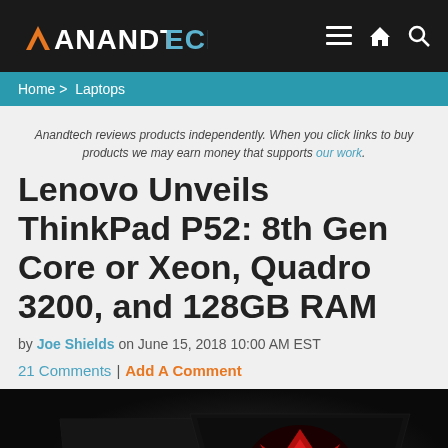AnandTech — Home > Laptops
Anandtech reviews products independently. When you click links to buy products we may earn money that supports our work.
Lenovo Unveils ThinkPad P52: 8th Gen Core or Xeon, Quadro 3200, and 128GB RAM
by Joe Shields on June 15, 2018 10:00 AM EST
21 Comments | Add A Comment
[Figure (photo): Lenovo ThinkPad P52 laptop shown from behind and from the front with red display graphics, on a dark background]